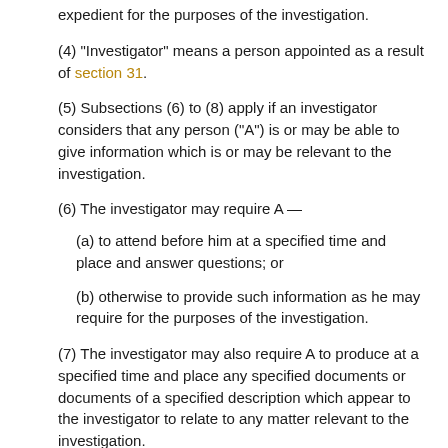expedient for the purposes of the investigation.
(4) "Investigator" means a person appointed as a result of section 31.
(5) Subsections (6) to (8) apply if an investigator considers that any person ("A") is or may be able to give information which is or may be relevant to the investigation.
(6) The investigator may require A —
(a) to attend before him at a specified time and place and answer questions; or
(b) otherwise to provide such information as he may require for the purposes of the investigation.
(7) The investigator may also require A to produce at a specified time and place any specified documents or documents of a specified description which appear to the investigator to relate to any matter relevant to the investigation.
(8) The investigator may also require A to give him all